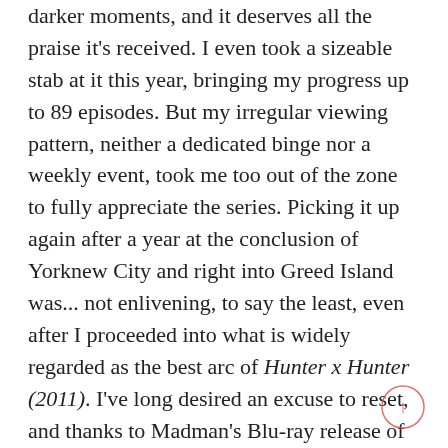darker moments, and it deserves all the praise it's received. I even took a sizeable stab at it this year, bringing my progress up to 89 episodes. But my irregular viewing pattern, neither a dedicated binge nor a weekly event, took me too out of the zone to fully appreciate the series. Picking it up again after a year at the conclusion of Yorknew City and right into Greed Island was... not enlivening, to say the least, even after I proceeded into what is widely regarded as the best arc of Hunter x Hunter (2011). I've long desired an excuse to reset, and thanks to Madman's Blu-ray release of episodes 1-26, I've hooked that second chance.

The first arc of Hunter x Hunter (2011) offers an